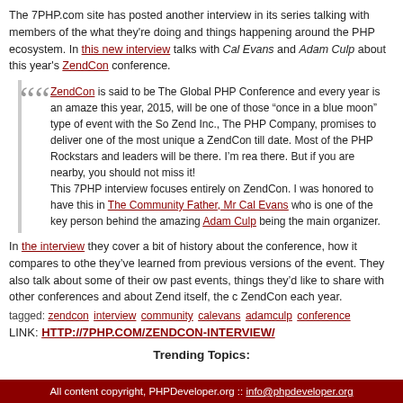The 7PHP.com site has posted another interview in its series talking with members of the what they're doing and things happening around the PHP ecosystem. In this new interview talks with Cal Evans and Adam Culp about this year's ZendCon conference.
ZendCon is said to be The Global PHP Conference and every year is an amazing this year, 2015, will be one of those "once in a blue moon" type of event with the So Zend Inc., The PHP Company, promises to deliver one of the most unique a ZendCon till date. Most of the PHP Rockstars and leaders will be there. I'm real there. But if you are nearby, you should not miss it! This 7PHP interview focuses entirely on ZendCon. I was honored to have this in The Community Father, Mr Cal Evans who is one of the key person behind the amazing Adam Culp being the main organizer.
In the interview they cover a bit of history about the conference, how it compares to other they've learned from previous versions of the event. They also talk about some of their ow past events, things they'd like to share with other conferences and about Zend itself, the c ZendCon each year.
tagged: zendcon interview community calevans adamculp conference
LINK: HTTP://7PHP.COM/ZENDCON-INTERVIEW/
Trending Topics:
All content copyright, PHPDeveloper.org :: info@phpdeveloper.org